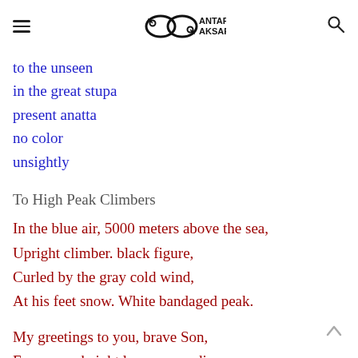Antar Aksara (logo with hamburger menu and search icon)
to the unseen
in the great stupa
present anatta
no color
unsightly
To High Peak Climbers
In the blue air, 5000 meters above the sea,
Upright climber. black figure,
Curled by the gray cold wind,
At his feet snow. White bandaged peak.
My greetings to you, brave Son,
From your height looms samadi,
The conquering man, the eternal heir